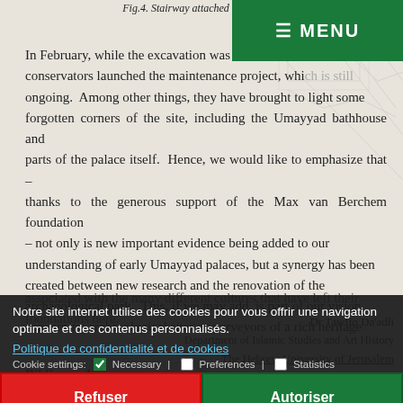Fig.4. Stairway attached to Tower 4.
In February, while the excavation was in session, conservators launched the maintenance project, which is still ongoing. Among other things, they have brought to light some forgotten corners of the site, including the Umayyad bathhouse and parts of the palace itself. Hence, we would like to emphasize that – thanks to the generous support of the Max van Berchem foundation – not only is new important evidence being added to our understanding of early Umayyad palaces, but a synergy has been created between new research and the renovation of the archaeological park. This, if we may add, is part of our vision concerning archaeological sites as purveyors of a rich heritage associated with the many different cultures that have left their foundations here.
Dr Tawfiq Da'adli
Department of Islamic Studies and Art History
The Hebrew University of Jerusalem
Notre site internet utilise des cookies pour vous offrir une navigation optimale et des contenus personnalisés.
Politique de confidentialité et de cookies
Cookie settings: Necessary | Preferences | Statistics
Refuser
Autoriser
Bibliography
Creswell K.A.C.